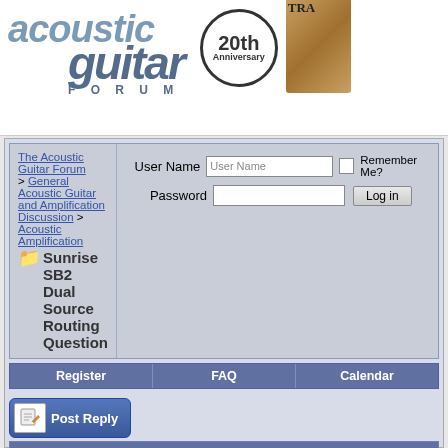[Figure (logo): Acoustic Guitar Forum logo with '20th Anniversary' circle badge]
The Acoustic Guitar Forum > General Acoustic Guitar and Amplification Discussion > Acoustic Amplification
Sunrise SB2 Dual Source Routing Question
User Name | Password | Remember Me? | Log in
Register
FAQ
Calendar
Post Reply
Thread Tools
01-22-2022, 06:20 AM  #1
open-road-matt  Charter Member  Join Date: Jan 2008  Location: Knoxville, TN  Posts: 2,034
Sunrise SB2 Dual Source Routing Question